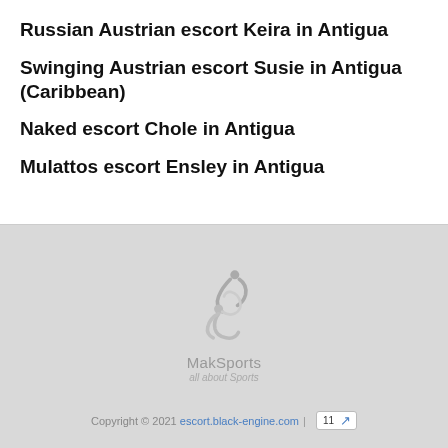Russian Austrian escort Keira in Antigua
Swinging Austrian escort Susie in Antigua (Caribbean)
Naked escort Chole in Antigua
Mulattos escort Ensley in Antigua
[Figure (logo): MakSports logo — stylized figure in grey, text 'MakSports all about Sports']
Copyright © 2021 escort.black-engine.com | 11 ↗